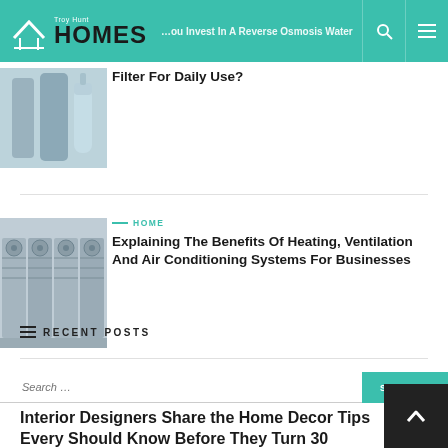Troy Hunt Homes – Should You Invest In A Reverse Osmosis Water Filter For Daily Use?
[Figure (photo): Photo of water filter cylinders]
[Figure (photo): Photo of HVAC outdoor units lined up]
HOME
Explaining The Benefits Of Heating, Ventilation And Air Conditioning Systems For Businesses
Search …
RECENT POSTS
Interior Designers Share the Home Decor Tips Every [person] Should Know Before They Turn 30